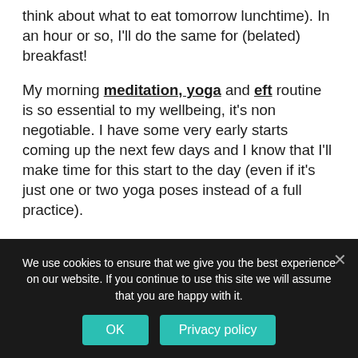think about what to eat tomorrow lunchtime). In an hour or so, I'll do the same for (belated) breakfast!
My morning meditation, yoga and eft routine is so essential to my wellbeing, it's non negotiable. I have some very early starts coming up the next few days and I know that I'll make time for this start to the day (even if it's just one or two yoga poses instead of a full practice).
But food, or getting out – my inner toddler still sometimes runs that show.
Wh...
We use cookies to ensure that we give you the best experience on our website. If you continue to use this site we will assume that you are happy with it.